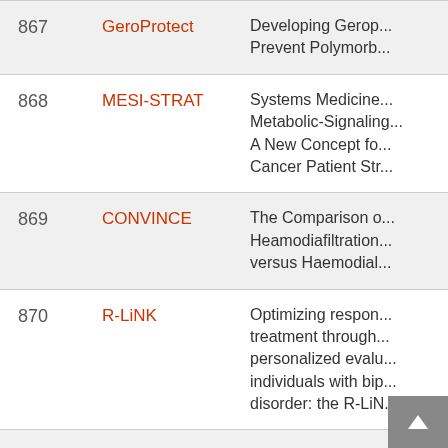| # | Name | Description |
| --- | --- | --- |
| 867 | GeroProtect | Developing Gerop... Prevent Polymorb... |
| 868 | MESI-STRAT | Systems Medicine... Metabolic-Signaling... A New Concept fo... Cancer Patient Str... |
| 869 | CONVINCE | The Comparison o... Heamodiafiltration... versus Haemodial... |
| 870 | R-LiNK | Optimizing respon... treatment through... personalized evalu... individuals with bip... disorder: the R-LiN... |
| 871 | EURO SHOCK | Testing the value... strategic approach... efficacy to impro... |